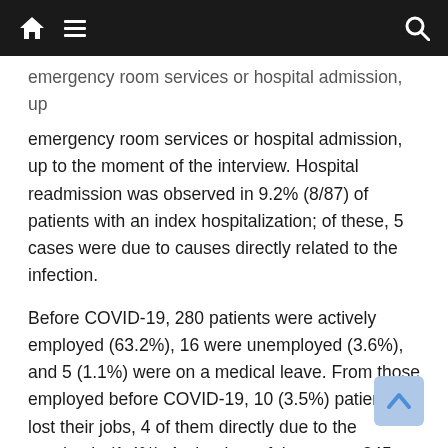Navigation bar with home, menu, and search icons
emergency room services or hospital admission, up to the moment of the interview. Hospital readmission was observed in 9.2% (8/87) of patients with an index hospitalization; of these, 5 cases were due to causes directly related to the infection.
Before COVID-19, 280 patients were actively employed (63.2%), 16 were unemployed (3.6%), and 5 (1.1%) were on a medical leave. From those employed before COVID-19, 10 (3.5%) patients lost their jobs, 4 of them directly due to the pandemic (1.4%). At the time of the survey 245 patients (55.3%) were actively employed, 29 (6.5%) were on a medical leave due to COVID-19 or its consequences, and 21 (4.7%) were unemployed. Thirty-four patients (7.7%) reported current difficulties in performing their usual duties at their jobs.